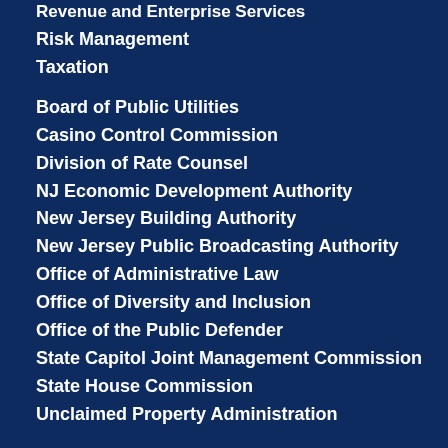Revenue and Enterprise Services
Risk Management
Taxation
Board of Public Utilities
Casino Control Commission
Division of Rate Counsel
NJ Economic Development Authority
New Jersey Building Authority
New Jersey Public Broadcasting Authority
Office of Administrative Law
Office of Diversity and Inclusion
Office of the Public Defender
State Capitol Joint Management Commission
State House Commission
Unclaimed Property Administration